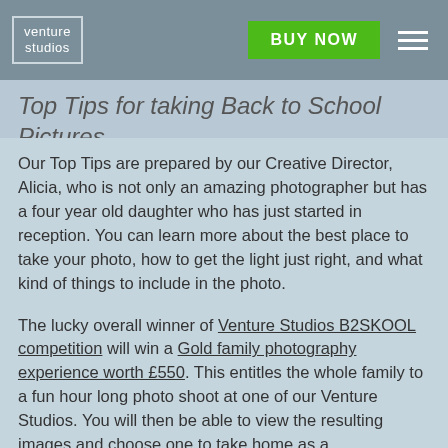venture studios | BUY NOW
Top Tips for taking Back to School Pictures.
Our Top Tips are prepared by our Creative Director, Alicia, who is not only an amazing photographer but has a four year old daughter who has just started in reception. You can learn more about the best place to take your photo, how to get the light just right, and what kind of things to include in the photo.
The lucky overall winner of Venture Studios B2SKOOL competition will win a Gold family photography experience worth £550. This entitles the whole family to a fun hour long photo shoot at one of our Venture Studios. You will then be able to view the resulting images and choose one to take home as a complimentary framed…